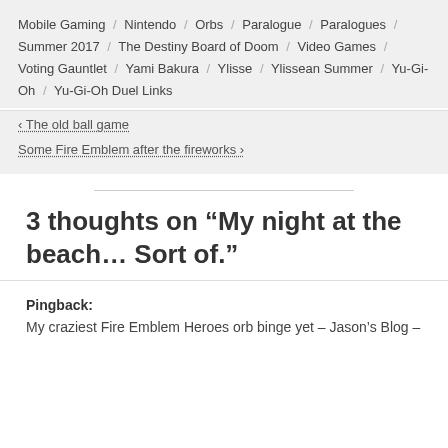Mobile Gaming / Nintendo / Orbs / Paralogue / Paralogues / Summer 2017 / The Destiny Board of Doom / Video Games / Voting Gauntlet / Yami Bakura / Ylisse / Ylissean Summer / Yu-Gi-Oh / Yu-Gi-Oh Duel Links
< The old ball game
Some Fire Emblem after the fireworks >
3 thoughts on “My night at the beach… Sort of.”
Pingback:
My craziest Fire Emblem Heroes orb binge yet – Jason's Blog –